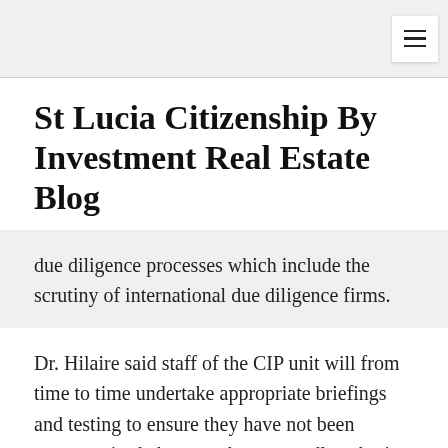≡
St Lucia Citizenship By Investment Real Estate Blog
due diligence processes which include the scrutiny of international due diligence firms.
Dr. Hilaire said staff of the CIP unit will from time to time undertake appropriate briefings and testing to ensure they have not been compromised. Agents who repeatedly submit